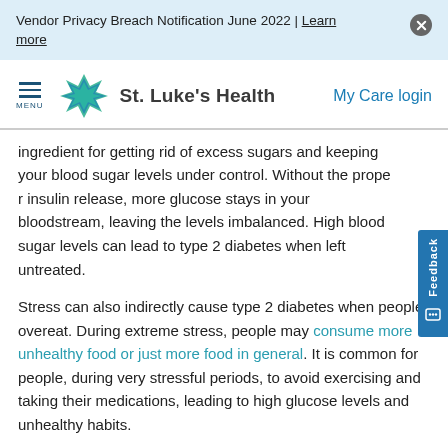Vendor Privacy Breach Notification June 2022 | Learn more
St. Luke's Health — My Care login
ingredient for getting rid of excess sugars and keeping your blood sugar levels under control. Without the proper insulin release, more glucose stays in your bloodstream, leaving the levels imbalanced. High blood sugar levels can lead to type 2 diabetes when left untreated.
Stress can also indirectly cause type 2 diabetes when people overeat. During extreme stress, people may consume more unhealthy food or just more food in general. It is common for people, during very stressful periods, to avoid exercising and taking their medications, leading to high glucose levels and unhealthy habits.